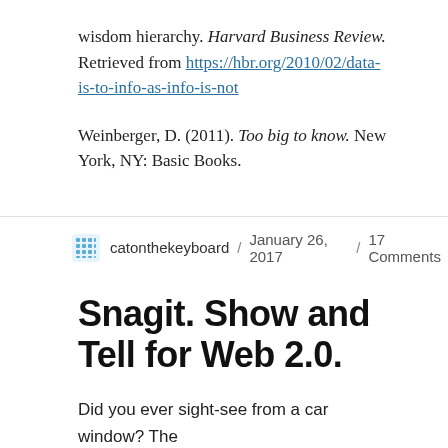wisdom hierarchy. Harvard Business Review. Retrieved from https://hbr.org/2010/02/data-is-to-info-as-info-is-not
Weinberger, D. (2011). Too big to know. New York, NY: Basic Books.
catonthekeyboard / January 26, 2017 / 17 Comments
Snagit. Show and Tell for Web 2.0.
Did you ever sight-see from a car window? The